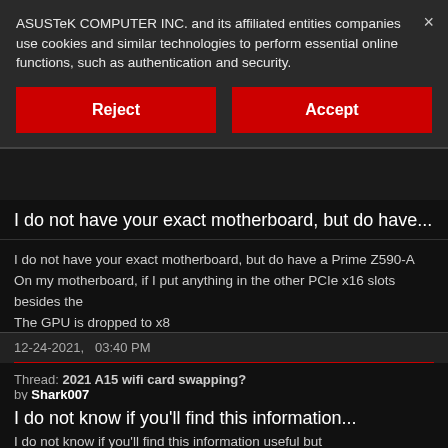ASUSTeK COMPUTER INC. and its affiliated entities companies use cookies and similar technologies to perform essential online functions, such as authentication and security.
Reject
Accept
I do not have your exact motherboard, but do have...
I do not have your exact motherboard, but do have a Prime Z590-A
On my motherboard, if I put anything in the other PCIe x16 slots besides the
The GPU is dropped to x8
Even installing...
12-24-2021,   03:40 PM
Thread: 2021 A15 wifi card swapping?
by Shark007
I do not know if you'll find this information...
I do not know if you'll find this information useful but
I have a very old Asus N76V laptop and just a few days ago I swapped out it
For an Intel WiFi 6E chip and had no...